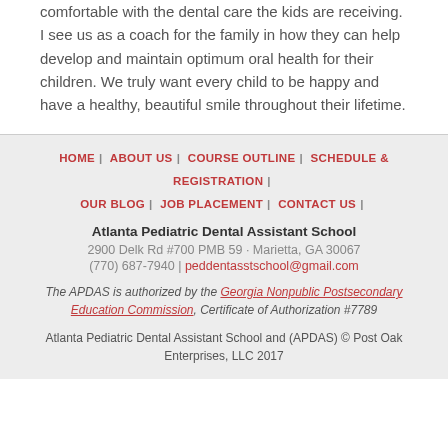comfortable with the dental care the kids are receiving. I see us as a coach for the family in how they can help develop and maintain optimum oral health for their children. We truly want every child to be happy and have a healthy, beautiful smile throughout their lifetime.
HOME | ABOUT US | COURSE OUTLINE | SCHEDULE & REGISTRATION | OUR BLOG | JOB PLACEMENT | CONTACT US
Atlanta Pediatric Dental Assistant School
2900 Delk Rd #700 PMB 59 · Marietta, GA 30067
(770) 687-7940 | peddentasstschool@gmail.com
The APDAS is authorized by the Georgia Nonpublic Postsecondary Education Commission, Certificate of Authorization #7789
Atlanta Pediatric Dental Assistant School and (APDAS) © Post Oak Enterprises, LLC 2017